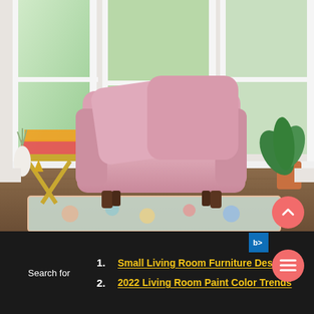[Figure (photo): A plush pink velvet armchair with two oversized cushions sits in a bright bay window surrounded by tall white window frames. Green trees are visible outside. A gold side table with books is to the left, and tropical potted plants are to the right. A colorful rug is visible on the hardwood floor.]
Search for
1. Small Living Room Furniture Designs
2. 2022 Living Room Paint Color Trends